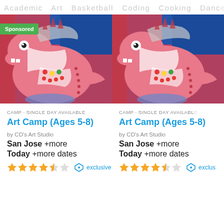Academic  Art  Basketball  Coding  Cooking  Dance
[Figure (photo): Pink dinosaur craft art project with white stripes, googly eyes, and colorful jewel decorations. Sponsored badge shown in top-left corner.]
CAMP · SINGLE DAY AVAILABLE
Art Camp (Ages 5-8)
by CD's Art Studio
San Jose +more
Today +more dates
[Figure (photo): Pink dinosaur craft art project with white stripes, googly eyes, and colorful jewel decorations (second card, no sponsored badge).]
CAMP · SINGLE DAY AVAILABLE
Art Camp (Ages 5-8)
by CD's Art Studio
San Jose +more
Today +more dates